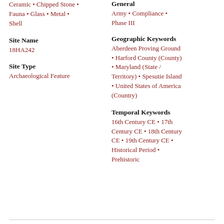Ceramic • Chipped Stone • Fauna • Glass • Metal • Shell
General
Army • Compliance • Phase III
Site Name
18HA242
Site Type
Archaeological Feature
Geographic Keywords
Aberdeen Proving Ground
• Harford County (County)
• Maryland (State / Territory) • Spesutie Island
• United States of America (Country)
Temporal Keywords
16th Century CE • 17th Century CE • 18th Century CE • 19th Century CE • Historical Period • Prehistoric